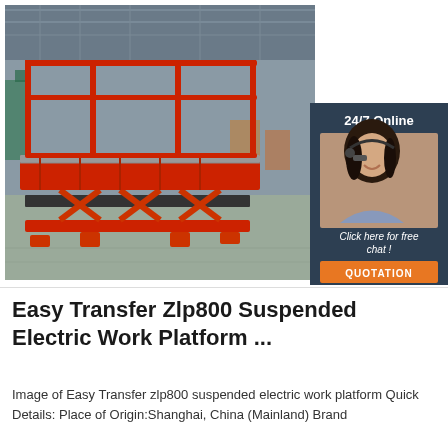[Figure (photo): Red scissor lift / suspended electric work platform inside a large warehouse. The lift is extended low with a railing platform on top and orange feet at the base. Background shows industrial warehouse with other equipment.]
[Figure (infographic): 24/7 Online chat widget overlay. Dark navy background with a woman wearing a headset/microphone smiling. Text reads '24/7 Online', italic text 'Click here for free chat!', and an orange button labeled 'QUOTATION'.]
Easy Transfer Zlp800 Suspended Electric Work Platform ...
Image of Easy Transfer zlp800 suspended electric work platform Quick Details: Place of Origin:Shanghai, China (Mainland) Brand